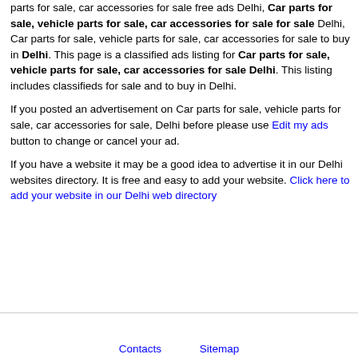parts for sale, car accessories for sale free ads Delhi, Car parts for sale, vehicle parts for sale, car accessories for sale for sale Delhi, Car parts for sale, vehicle parts for sale, car accessories for sale to buy in Delhi. This page is a classified ads listing for Car parts for sale, vehicle parts for sale, car accessories for sale Delhi. This listing includes classifieds for sale and to buy in Delhi.
If you posted an advertisement on Car parts for sale, vehicle parts for sale, car accessories for sale, Delhi before please use Edit my ads button to change or cancel your ad.
If you have a website it may be a good idea to advertise it in our Delhi websites directory. It is free and easy to add your website. Click here to add your website in our Delhi web directory
Contacts   Sitemap